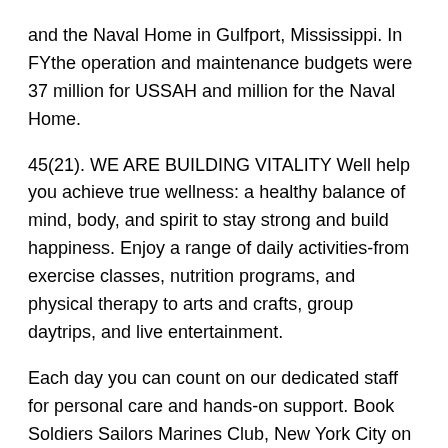and the Naval Home in Gulfport, Mississippi. In FYthe operation and maintenance budgets were 37 million for USSAH and million for the Naval Home.
45(21). WE ARE BUILDING VITALITY Well help you achieve true wellness: a healthy balance of mind, body, and spirit to stay strong and build happiness. Enjoy a range of daily activities-from exercise classes, nutrition programs, and physical therapy to arts and crafts, group daytrips, and live entertainment.
Each day you can count on our dedicated staff for personal care and hands-on support. Book Soldiers Sailors Marines Club, New York City on Tripadvisor: See 63 traveler reviews, 15 candid photos, and great deals for Soldiers Sailors Marines Club, ranked 50 of specialty lodging in New York City and rated of 5 at Tripadvisor TripAdvisor reviews.
In the U. Navy commissioned the Arleigh Burke-class guided-missile destroyer USS Hudner in Boston. The ships name pays tribute to two naval aviators incredible tale of gallantry, self-sacrifice and friendship in the Korean War.